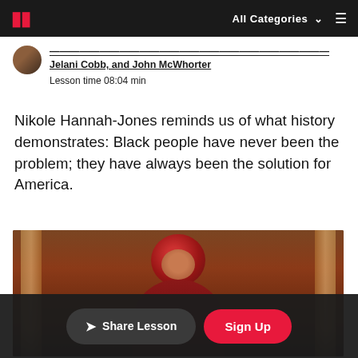MasterClass — All Categories
Jelani Cobb, and John McWhorter
Lesson time 08:04 min
Nikole Hannah-Jones reminds us of what history demonstrates: Black people have never been the problem; they have always been the solution for America.
[Figure (photo): Video thumbnail showing a woman with red curly hair wearing a red outfit, seated in a warmly lit room with wooden pillars in the background.]
Share Lesson   Sign Up